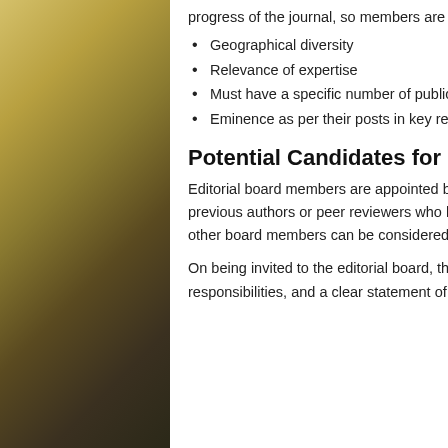progress of the journal, so members are appointed as per the following criteria:
Geographical diversity
Relevance of expertise
Must have a specific number of publications to their credit
Eminence as per their posts in key research institutes
Potential Candidates for Editorial Board Membership:
Editorial board members are appointed based on the selection criteria stated above. Guest editors, previous authors or peer reviewers who have worked for the journal or have been recommended by other board members can be considered for Editorial board membership.
On being invited to the editorial board, the potential candidates are given a brief description of their responsibilities, and a clear statement of the position being a voluntary position with no